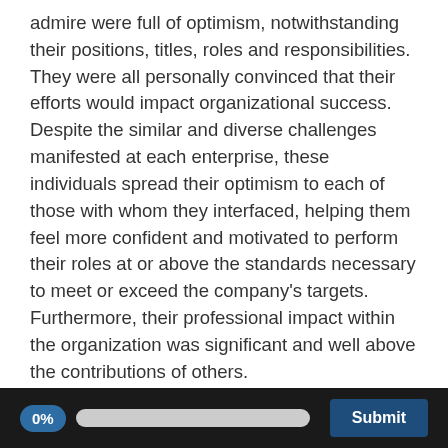admire were full of optimism, notwithstanding their positions, titles, roles and responsibilities. They were all personally convinced that their efforts would impact organizational success. Despite the similar and diverse challenges manifested at each enterprise, these individuals spread their optimism to each of those with whom they interfaced, helping them feel more confident and motivated to perform their roles at or above the standards necessary to meet or exceed the company's targets. Furthermore, their professional impact within the organization was significant and well above the contributions of others.
When I consider a different group of individuals with whom I regularly associated but didn't feel as